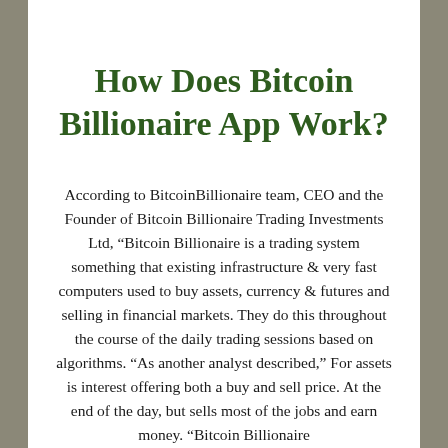How Does Bitcoin Billionaire App Work?
According to BitcoinBillionaire team, CEO and the Founder of Bitcoin Billionaire Trading Investments Ltd, “Bitcoin Billionaire is a trading system something that existing infrastructure & very fast computers used to buy assets, currency & futures and selling in financial markets. They do this throughout the course of the daily trading sessions based on algorithms. “As another analyst described,” For assets is interest offering both a buy and sell price. At the end of the day, but sells most of the jobs and earn money. “Bitcoin Billionaire